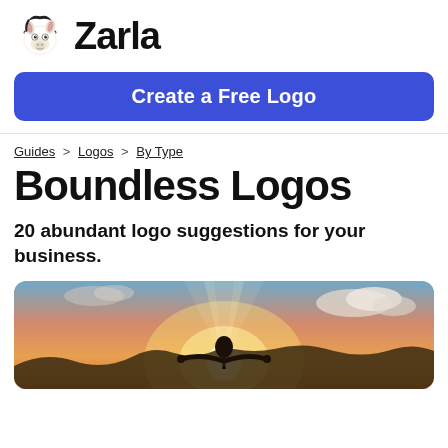[Figure (logo): Zarla logo with cartoon zebra mascot and bold text 'Zarla']
Create a Free Logo
Guides > Logos > By Type
Boundless Logos
20 abundant logo suggestions for your business.
[Figure (photo): Person with arms outstretched against a sunset sky with cityscape in background]